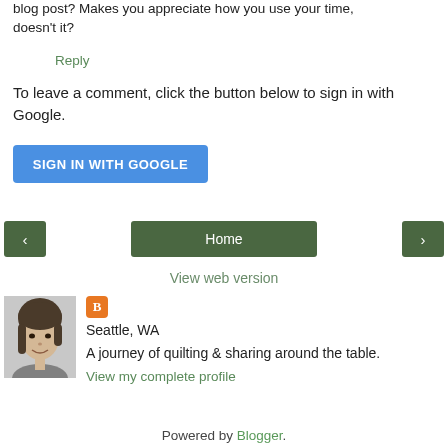blog post? Makes you appreciate how you use your time, doesn't it?
Reply
To leave a comment, click the button below to sign in with Google.
SIGN IN WITH GOOGLE
‹
Home
›
View web version
[Figure (photo): Black and white profile photo of a woman]
Seattle, WA
A journey of quilting & sharing around the table.
View my complete profile
Powered by Blogger.